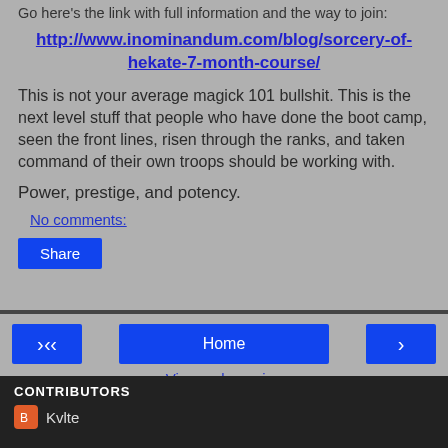Go here's the link with full information and the way to join:
http://www.inominandum.com/blog/sorcery-of-hekate-7-month-course/
This is not your average magick 101 bullshit. This is the next level stuff that people who have done the boot camp, seen the front lines, risen through the ranks, and taken command of their own troops should be working with.
Power, prestige, and potency.
No comments:
Share
Home
View web version
CONTRIBUTORS
Kvlte